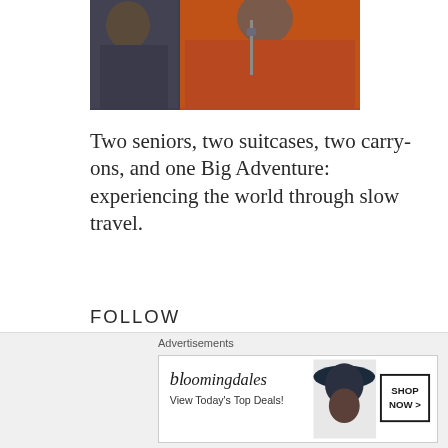[Figure (photo): Two people wearing jackets — one dark/navy, one orange/rust colored — cropped photo showing torsos]
Two seniors, two suitcases, two carry-ons, and one Big Adventure: experiencing the world through slow travel.
FOLLOW #THEOCCASIONALNOMADS ON INSTAGRAM!
Advertisements
[Figure (screenshot): Bloomingdale's advertisement banner: 'bloomingdales' logo, 'View Today's Top Deals!' text, woman in hat image, 'SHOP NOW >' button]